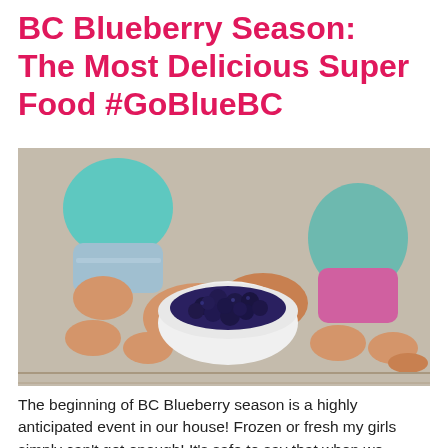BC Blueberry Season: The Most Delicious Super Food #GoBlueBC
[Figure (photo): Two children sitting on stone steps, one holding a white bowl full of fresh blueberries. Children are wearing teal and pink clothing.]
The beginning of BC Blueberry season is a highly anticipated event in our house! Frozen or fresh my girls simply can't get enough! It's safe to say that when we bought our deep freeze it was for the sole purpose of storing frozen Blueberries. Our